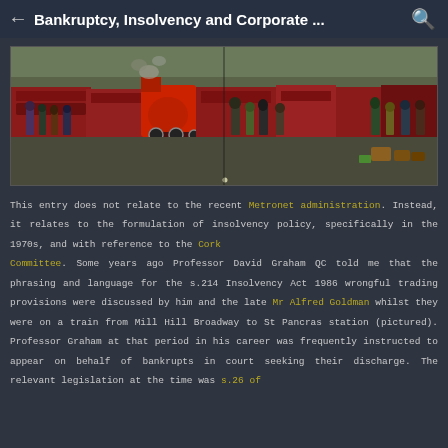Bankruptcy, Insolvency and Corporate ...
[Figure (photo): Historical painting of a Victorian railway station with steam locomotives and crowds of people on the platform, depicting Mill Hill Broadway or St Pancras station.]
This entry does not relate to the recent Metronet administration. Instead, it relates to the formulation of insolvency policy, specifically in the 1970s, and with reference to the Cork Committee. Some years ago Professor David Graham QC told me that the phrasing and language for the s.214 Insolvency Act 1986 wrongful trading provisions were discussed by him and the late Mr Alfred Goldman whilst they were on a train from Mill Hill Broadway to St Pancras station (pictured). Professor Graham at that period in his career was frequently instructed to appear on behalf of bankrupts in court seeking their discharge. The relevant legislation at the time was s.26 of